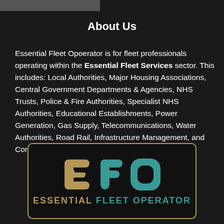[Figure (photo): Dark grey/black partial image bar at top left]
About Us
Essential Fleet Opoerator is for fleet professionals operating within the Essential Fleet Services sector. This includes: Local Authorities, Major Housing Associations, Central Government Departments & Agencies, NHS Trusts, Police & Fire Authorities, Specialist NHS Authorities, Educational Establishments, Power Generation, Gas Supply, Telecommunications, Water Authorities, Road Rail, Infrastructure Management, and Construction.
[Figure (logo): EFO Essential Fleet Operator logo with stylized E (gold), F (teal), O (teal) letters and text ESSENTIAL FLEET OPERATOR below, inside a gold-bordered rounded rectangle on a black background.]